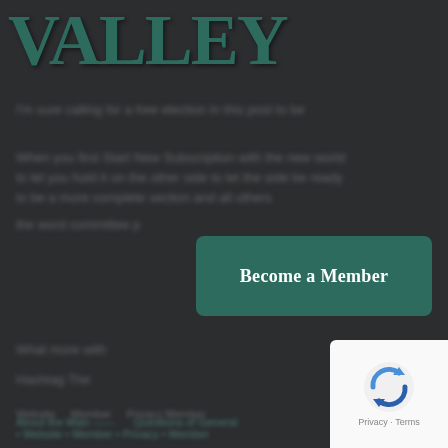[Figure (logo): Partial logo text reading 'VALLEY' or similar in large dark green bold serif font on dark background, partially cropped]
[blurred/obscured text paragraph 1]
[blurred/obscured text paragraph 2]
[blurred/obscured text paragraph 3 - left side]
[Figure (other): Dark teal/green rounded rectangle button with white bold text reading 'Become a Member']
[blurred/obscured text block]
[blurred/obscured text - Hashtag line]
[blurred footer navigation text]
[blurred footer links text]
[Figure (other): Google reCAPTCHA widget with spinning arrows logo and Privacy/Terms links at bottom right corner]